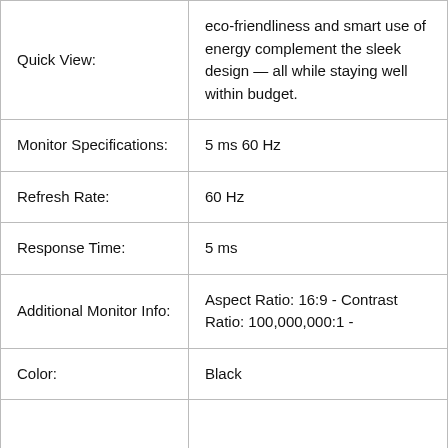| Field | Value |
| --- | --- |
| Quick View: | eco-friendliness and smart use of energy complement the sleek design — all while staying well within budget. |
| Monitor Specifications: | 5 ms 60 Hz |
| Refresh Rate: | 60 Hz |
| Response Time: | 5 ms |
| Additional Monitor Info: | Aspect Ratio: 16:9 - Contrast Ratio: 100,000,000:1 - |
| Color: | Black |
|  |  |